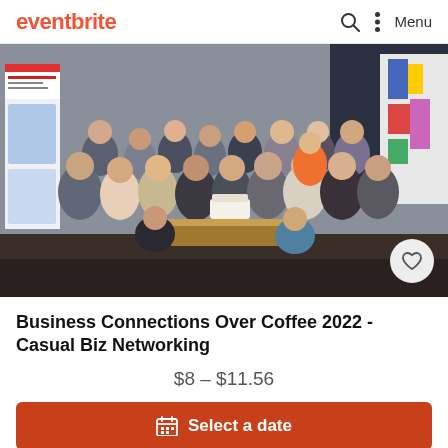eventbrite  Menu
[Figure (photo): Group photo of approximately 30 business professionals at a networking event, gathered around a table with a cake, giving thumbs up, in an office setting with a People First banner on the left and colorful artwork on the right.]
Business Connections Over Coffee 2022 - Casual Biz Networking
$8 – $11.56
Select a date